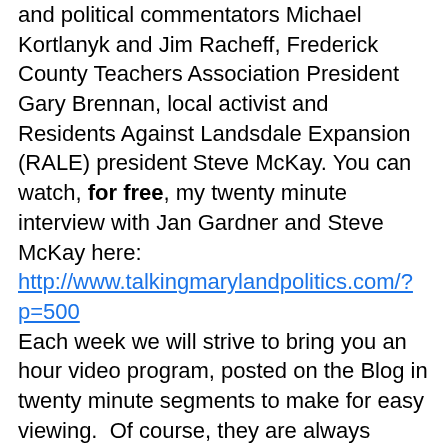and political commentators Michael Kortlanyk and Jim Racheff, Frederick County Teachers Association President Gary Brennan, local activist and Residents Against Landsdale Expansion (RALE) president Steve McKay. You can watch, for free, my twenty minute interview with Jan Gardner and Steve McKay here: http://www.talkingmarylandpolitics.com/?p=500 Each week we will strive to bring you an hour video program, posted on the Blog in twenty minute segments to make for easy viewing.  Of course, they are always available for viewing when you have the time. Next week we will air a recent interview I conducted with Kevin Grubb who is challenging incumbent Frederick County Sheriff Chuck Jenkins in the Republican Primary. Also next week, you will be able to view a great interview I had with Frederick County Circuit Court Judge Danny O'Connor who was appointed by Maryland Governor Martin O'Malley.  Former Frederick County state's attorney Scott Rolle is challenging O'Connor in this election. Joining me in another segment is Dave Weaver, the chair of the Judicial Nominating Commission for Frederick County. Weaver details what is a very thorough nominating process. You can continue from context and their important decisions and